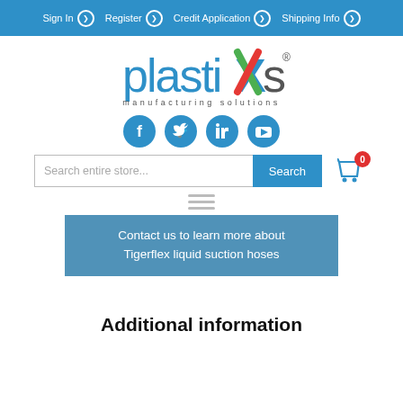Sign In  Register  Credit Application  Shipping Info
[Figure (logo): plastiXs manufacturing solutions logo with blue text and multicolor X]
[Figure (infographic): Social media icons: Facebook, Twitter, LinkedIn, YouTube — blue circular icons]
[Figure (screenshot): Search bar with placeholder 'Search entire store...' and blue Search button, plus cart icon with red badge showing 0]
[Figure (infographic): Hamburger menu icon (three horizontal lines)]
Contact us to learn more about Tigerflex liquid suction hoses
Additional information